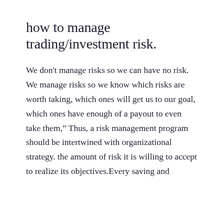how to manage trading/investment risk.
We don't manage risks so we can have no risk. We manage risks so we know which risks are worth taking, which ones will get us to our goal, which ones have enough of a payout to even take them," Thus, a risk management program should be intertwined with organizational strategy. the amount of risk it is willing to accept to realize its objectives.Every saving and